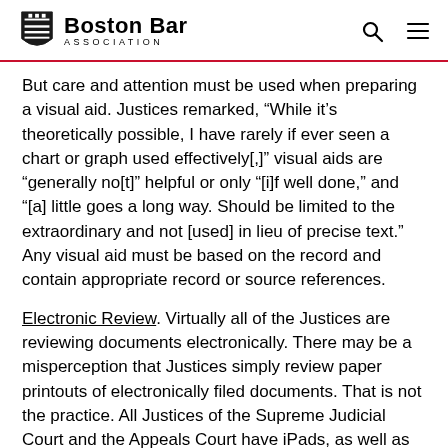Boston Bar Association
But care and attention must be used when preparing a visual aid.  Justices remarked, “While it’s theoretically possible, I have rarely if ever seen a chart or graph used effectively[,]” visual aids are “generally no[t]” helpful or only “[i]f well done,” and “[a] little goes a long way.  Should be limited to the extraordinary and not [used] in lieu of precise text.”  Any visual aid must be based on the record and contain appropriate record or source references.
Electronic Review.  Virtually all of the Justices are reviewing documents electronically.  There may be a misperception that Justices simply review paper printouts of electronically filed documents.  That is not the practice.  All Justices of the Supreme Judicial Court and the Appeals Court have iPads, as well as desktop computers, that contain electronic files (PDFs)